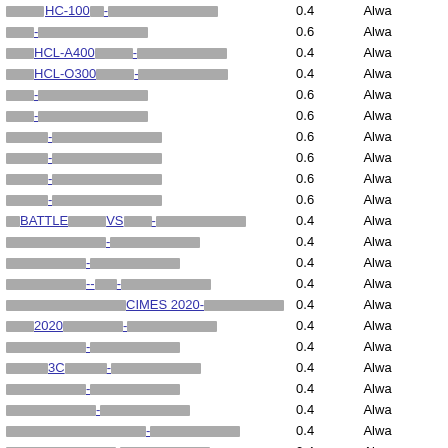| Link | Value | Status |
| --- | --- | --- |
| HC-100■■■-■■■■■■■■■■■■ | 0.4 | Alwa |
| ■■■-■■■■■■■■■■■■■ | 0.6 | Alwa |
| HCL-A400■■■■■■-■■■■■■■■■■■■■ | 0.4 | Alwa |
| HCL-O300■■■■■■-■■■■■■■■■■■■ | 0.4 | Alwa |
| ■■■-■■■■■■■■■■■■ | 0.6 | Alwa |
| ■■■-■■■■■■■■■■■■ | 0.6 | Alwa |
| ■■■■-■■■■■■■■■■■■■ | 0.6 | Alwa |
| ■■■■-■■■■■■■■■■■■■ | 0.6 | Alwa |
| ■■■■-■■■■■■■■■■■■■ | 0.6 | Alwa |
| ■■■■-■■■■■■■■■■■■■ | 0.6 | Alwa |
| BATTLE■■■■■■■VS■■■■■■-■■■■■■■■■■■■■ | 0.4 | Alwa |
| ■■■■■■■■■■■■■■-■■■■■■■■■■■■ | 0.4 | Alwa |
| ■■■■■■■■■■■-■■■■■■■■■■■■ | 0.4 | Alwa |
| ■■■■■■■■■■■--■■■-■■■■■■■■■■■■ | 0.4 | Alwa |
| ■■■■■■■■■■■■■■■■■■■CIMES 2020-■■■■■■■■■■■■ | 0.4 | Alwa |
| ■■■2020■■■■■■■■■■■-■■■■■■■■■■■■■ | 0.4 | Alwa |
| ■■■■■■■■■■■■-■■■■■■■■■■■■ | 0.4 | Alwa |
| ■■■■■■3C■■■■■-■■■■■■■■■■■■ | 0.4 | Alwa |
| ■■■■■■■■■■■■-■■■■■■■■■■■■ | 0.4 | Alwa |
| ■■■■■■■■■■■■■■-■■■■■■■■■■■■ | 0.4 | Alwa |
| ■■■■■■■■■■■■■■■■■■■■■■■-■■■■■■■■■■■■ | 0.4 | Alwa |
| ■■■■■■■■■■■■■■■■-■■■■■■■■■■■■ | 0.4 | Alwa |
| ■■■■CNC■■■■■■■■■■■■■■- ■■■■■■■■■■■ | 0.4 | Alwa |